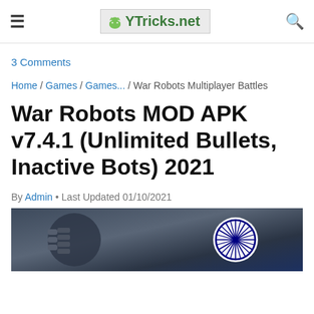≡  YTricks.net  🔍
3 Comments
Home / Games / Games... / War Robots Multiplayer Battles
War Robots MOD APK v7.4.1 (Unlimited Bullets, Inactive Bots) 2021
By Admin • Last Updated 01/10/2021
[Figure (photo): War Robots game screenshot showing robot weapons and Indian flag emblem]